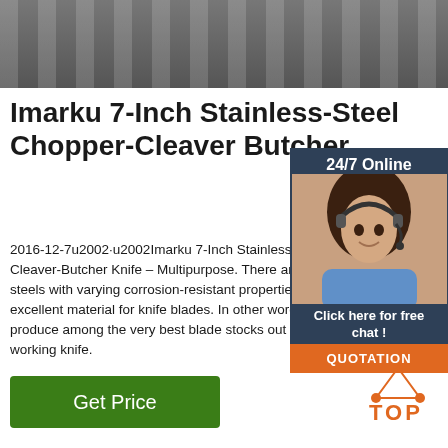[Figure (photo): Top photo showing a metallic/steel surface viewed from above, grey tones with linear patterns]
Imarku 7-Inch Stainless-Steel Chopper-Cleaver Butcher ...
2016-12-7u2002·u2002Imarku 7-Inch Stainless-Steel Chopper-Cleaver-Butcher Knife – Multipurpose. There are lots of stainless steels with varying corrosion-resistant properties that make it an excellent material for knife blades. In other words, D2 steel can produce among the very best blade stocks out there for a working knife.
[Figure (photo): Sidebar with 24/7 Online badge (dark blue background), customer service representative photo (woman with headset), Click here for free chat text, and QUOTATION orange button]
[Figure (other): TOP icon with orange dots in triangle formation and orange TOP text]
Get Price